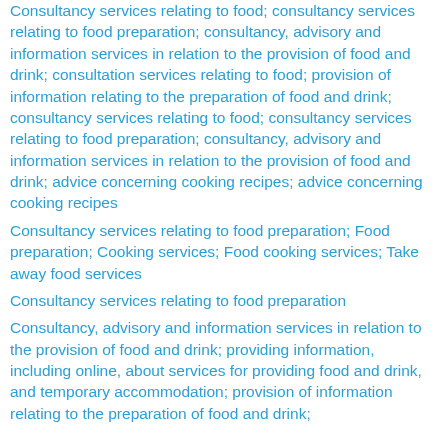Consultancy services relating to food; consultancy services relating to food preparation; consultancy, advisory and information services in relation to the provision of food and drink; consultation services relating to food; provision of information relating to the preparation of food and drink; consultancy services relating to food; consultancy services relating to food preparation; consultancy, advisory and information services in relation to the provision of food and drink; advice concerning cooking recipes; advice concerning cooking recipes
Consultancy services relating to food preparation; Food preparation; Cooking services; Food cooking services; Take away food services
Consultancy services relating to food preparation
Consultancy, advisory and information services in relation to the provision of food and drink; providing information, including online, about services for providing food and drink, and temporary accommodation; provision of information relating to the preparation of food and drink;